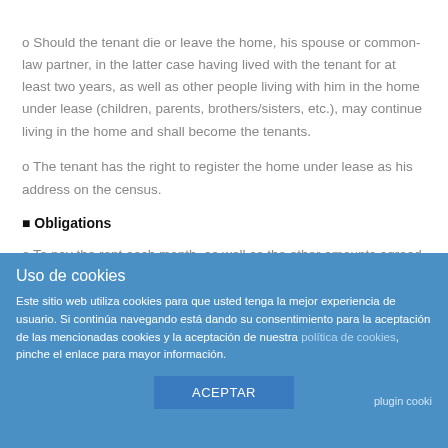o Should the tenant die or leave the home, his spouse or common-law partner, in the latter case having lived with the tenant for at least two years, as well as other people living with him in the home under lease (children, parents, brothers/sisters, etc.), may continue living in the home and shall become the tenants.
o The tenant has the right to register the home under lease as his address on the census.
Obligations
o To pay the rent each month, as well as the other amounts agreed in the agreed place and term.
o To pay the deposit when the contract of lease is signed
Uso de cookies
Este sitio web utiliza cookies para que usted tenga la mejor experiencia de usuario. Si continúa navegando está dando su consentimiento para la aceptación de las mencionadas cookies y la aceptación de nuestra política de cookies, pinche el enlace para mayor información.
ACEPTAR
plugin cooki